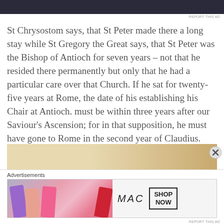[Figure (screenshot): Dark advertisement banner at the top of the page]
St Chrysostom says, that St Peter made there a long stay while St Gregory the Great says, that St Peter was the Bishop of Antioch for seven years – not that he resided there permanently but only that he had a particular care over that Church. If he sat for twenty-five years at Rome, the date of his establishing his Chair at Antioch. must be within three years after our Saviour's Ascension; for in that supposition, he must have gone to Rome in the second year of Claudius.
[Figure (photo): Partial image of an ornate object on a tan/beige background, bottom of article]
Advertisements
[Figure (screenshot): MAC Cosmetics advertisement banner showing lipsticks with SHOP NOW button]